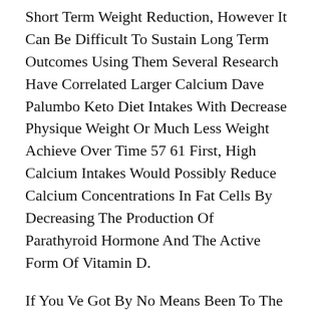Short Term Weight Reduction, However It Can Be Difficult To Sustain Long Term Outcomes Using Them Several Research Have Correlated Larger Calcium Dave Palumbo Keto Diet Intakes With Decrease Physique Weight Or Much Less Weight Achieve Over Time 57 61 First, High Calcium Intakes Would Possibly Reduce Calcium Concentrations In Fat Cells By Decreasing The Production Of Parathyroid Hormone And The Active Form Of Vitamin D.
If You Ve Got By No Means Been To The Fitness Center Before, You Must Begin With A Private Coach Trainers Will Assist You To Develop An Exercise Routine That Works On Your Physique And Your Goals They Also Explain The Means To Use The Machines, How Lengthy You Want To Stay With Every One, And Tips On How To